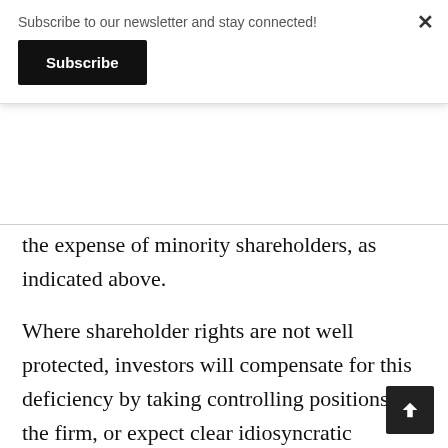Subscribe to our newsletter and stay connected!
Subscribe
the expense of minority shareholders, as indicated above.
Where shareholder rights are not well protected, investors will compensate for this deficiency by taking controlling positions in the firm, or expect clear idiosyncratic governance practices to be put in place to guarantee some minimum level of proper oversight of top management, but especially over majority shareholders to